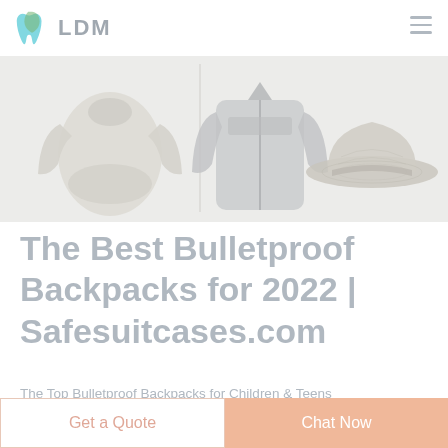LDM
[Figure (photo): Three clothing/accessory items on a light background: a long-sleeve fitted shirt, a zip-up jacket/sweatshirt, and a camouflage-style wide-brim hat]
The Best Bulletproof Backpacks for 2022 | Safesuitcases.com
The Top Bulletproof Backpacks for Children & Teens
Get a Quote
Chat Now